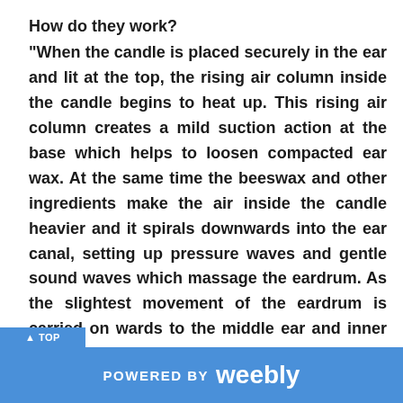How do they work?
"When the candle is placed securely in the ear and lit at the top, the rising air column inside the candle begins to heat up. This rising air column creates a mild suction action at the base which helps to loosen compacted ear wax. At the same time the beeswax and other ingredients make the air inside the candle heavier and it spirals downwards into the ear canal, setting up pressure waves and gentle sound waves which massage the eardrum. As the slightest movement of the eardrum is carried on wards to the middle ear and inner ear, all the structures of the ear receive a gentle massage. As the ear, nose, sinuses and throat are all interconnected, this has the effect of regulating and balancing pressure in the ears as well as the whole of the
POWERED BY weebly